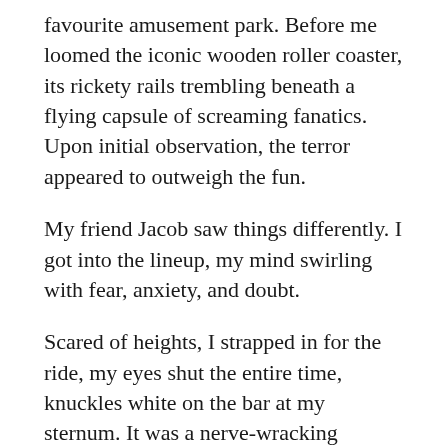favourite amusement park. Before me loomed the iconic wooden roller coaster, its rickety rails trembling beneath a flying capsule of screaming fanatics. Upon initial observation, the terror appeared to outweigh the fun.
My friend Jacob saw things differently. I got into the lineup, my mind swirling with fear, anxiety, and doubt.
Scared of heights, I strapped in for the ride, my eyes shut the entire time, knuckles white on the bar at my sternum. It was a nerve-wracking experience... the first time.
Knowing I could do it once, I knew I could do it again.
Each time I returned, my eyes stayed open longer; my hands gripped the bar less tightly; the butterflies